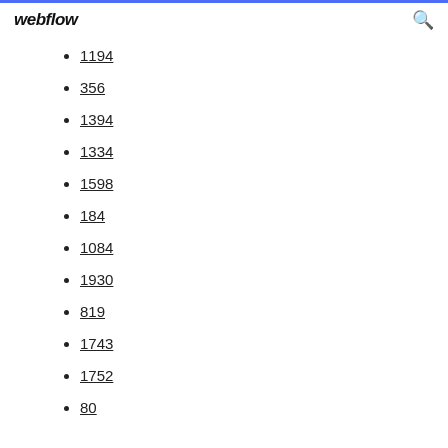webflow
1194
356
1394
1334
1598
184
1084
1930
819
1743
1752
80